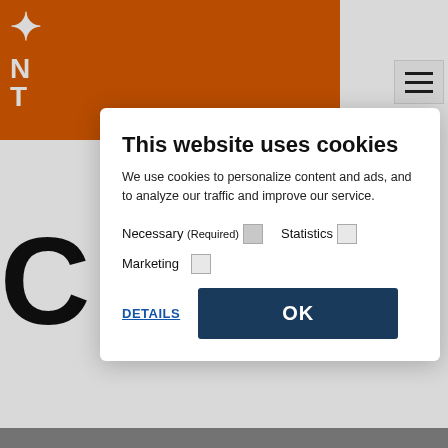[Figure (screenshot): Norwegian Travel Company website header with orange logo bar and hamburger menu]
This website uses cookies
We use cookies to personalize content and ads, and to analyze our traffic and improve our service.
Necessary (Required) [checkbox checked]   Statistics [checkbox unchecked]
Marketing [checkbox unchecked]
DETAILS   OK
opportunities. Feel free to send an open application to info@norwegiantravelcompany.com , or see our vacancies below.